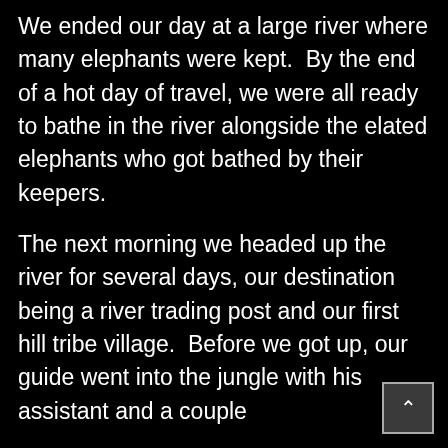We ended our day at a large river where many elephants were kept.  By the end of a hot day of travel, we were all ready to bathe in the river alongside the elated elephants who got bathed by their keepers.
The next morning we headed up the river for several days, our destination being a river trading post and our first hill tribe village.  Before we got up, our guide went into the jungle with his assistant and a couple